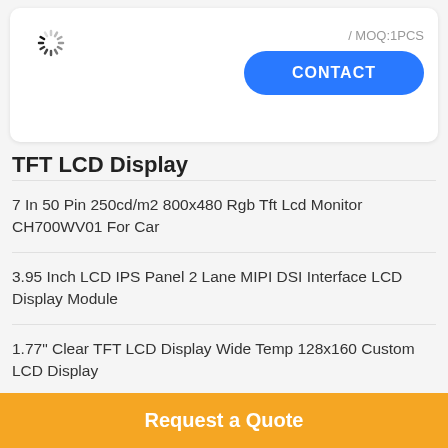[Figure (other): Loading spinner icon]
/ MOQ:1PCS
CONTACT
TFT LCD Display
7 In 50 Pin 250cd/m2 800x480 Rgb Tft Lcd Monitor CH700WV01 For Car
3.95 Inch LCD IPS Panel 2 Lane MIPI DSI Interface LCD Display Module
1.77" Clear TFT LCD Display Wide Temp 128x160 Custom LCD Display
Popular Categories
All
Request a Quote